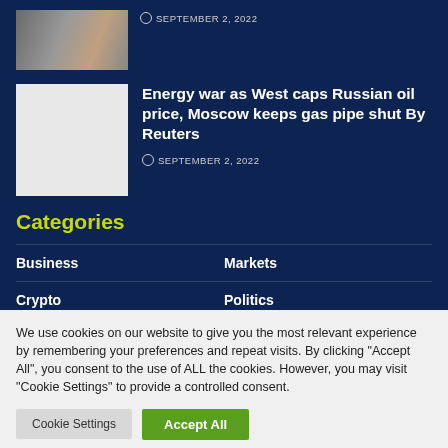[Figure (photo): Small thumbnail image of an article]
SEPTEMBER 2, 2022
[Figure (photo): White/blank thumbnail placeholder for article]
Energy war as West caps Russian oil price, Moscow keeps gas pipe shut By Reuters
SEPTEMBER 2, 2022
Categories
Business
Markets
Crypto
Politics
Economy
Real Estate
We use cookies on our website to give you the most relevant experience by remembering your preferences and repeat visits. By clicking "Accept All", you consent to the use of ALL the cookies. However, you may visit "Cookie Settings" to provide a controlled consent.
Cookie Settings
Accept All